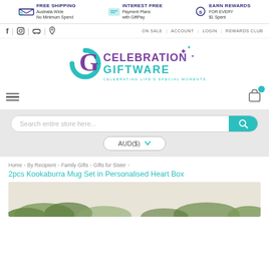FREE SHIPPING Australia Wide No Minimum Spend | INTEREST FREE Payment Plans with GiftPay | EARN REWARDS FOR EVERY $1 Spent
ON SALE | ACCOUNT | LOGIN | REWARDS CLUB
[Figure (logo): Celebration Giftware logo with teal G circle and purple/teal text and stars. Tagline: CELEBRATING LIFE'S SPECIAL MOMENTS]
[Figure (infographic): Search bar with placeholder 'Search entire store here...' and teal search button, plus AUD($) currency selector below]
Home > By Recipient > Family Gifts > Gifts for Sister >
2pcs Kookaburra Mug Set in Personalised Heart Box
[Figure (photo): Partial product photo of the Kookaburra Mug Set, showing floral/natural elements at bottom edge]